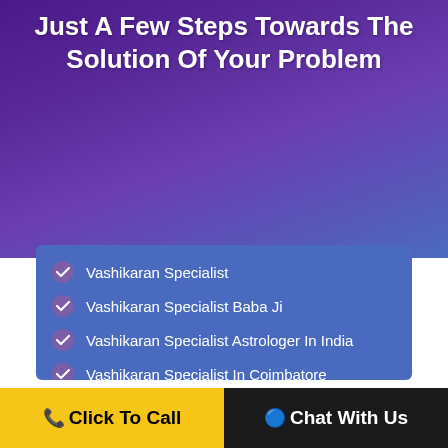Just A Few Steps Towards The Solution Of Your Problem
Vashikaran Specialist
Vashikaran Specialist Baba Ji
Vashikaran Specialist Astrologer In India
Vashikaran Specialist In Coimbatore
Vashikaran Specialist In Madurai
Vashikaran Specialist In Hyderabad
Vashikaran Specialist In Kerala
Vashikaran Specialist In Chennai
Click To Call | Chat With Us